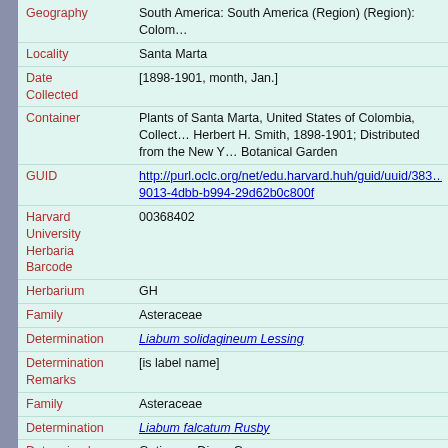| Field | Value |
| --- | --- |
| Geography | South America: South America (Region) (Region): Colom… |
| Locality | Santa Marta |
| Date Collected | [1898-1901, month, Jan.] |
| Container | Plants of Santa Marta, United States of Colombia, Collect… Herbert H. Smith, 1898-1901; Distributed from the New Y… Botanical Garden |
| GUID | http://purl.oclc.org/net/edu.harvard.huh/guid/uuid/383… 9013-4dbb-b994-29d62b0c800f |
| Harvard University Herbaria Barcode | 00368402 |
| Herbarium | GH |
| Family | Asteraceae |
| Determination | Liabum solidagineum Lessing |
| Determination Remarks | [is label name] |
| Family | Asteraceae |
| Determination | Liabum falcatum Rusby |
| Determined by | Gutierrez, Diego G. |
| Date | 2014 |